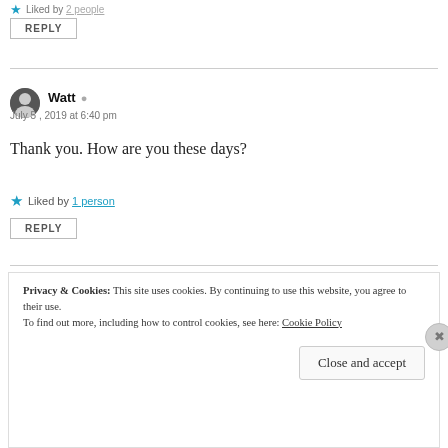Liked by 2 people
REPLY
Watt
July 5, 2019 at 6:40 pm
Thank you. How are you these days?
Liked by 1 person
REPLY
Privacy & Cookies: This site uses cookies. By continuing to use this website, you agree to their use. To find out more, including how to control cookies, see here: Cookie Policy
Close and accept